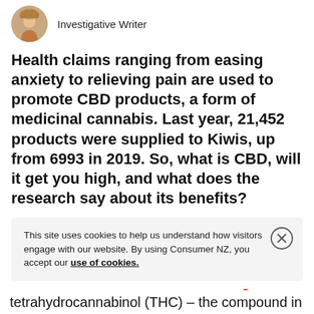Investigative Writer
Health claims ranging from easing anxiety to relieving pain are used to promote CBD products, a form of medicinal cannabis. Last year, 21,452 products were supplied to Kiwis, up from 6993 in 2019. So, what is CBD, will it get you high, and what does the research say about its benefits?
This site uses cookies to help us understand how visitors engage with our website. By using Consumer NZ, you accept our use of cookies.
tetrahydrocannabinol (THC) – the compound in